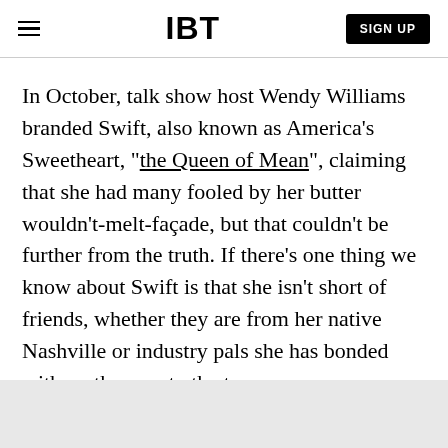IBT | SIGN UP
In October, talk show host Wendy Williams branded Swift, also known as America's Sweetheart, "the Queen of Mean", claiming that she had many fooled by her butter wouldn't-melt-façade, but that couldn't be further from the truth. If there's one thing we know about Swift is that she isn't short of friends, whether they are from her native Nashville or industry pals she has bonded with on the way to the top.